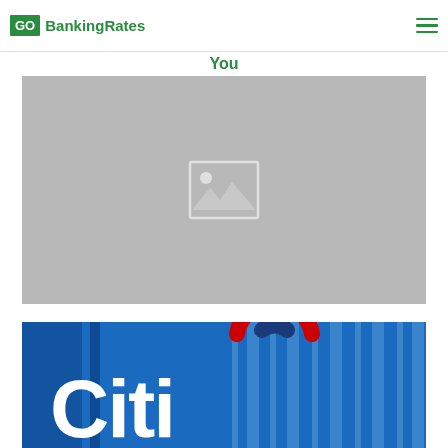GOBankingRates
You
[Figure (photo): Placeholder image with broken image icon on grey background]
[Figure (photo): Citibank / Citi logo signage on a blue building exterior with white Citi letters and red arc logo element]